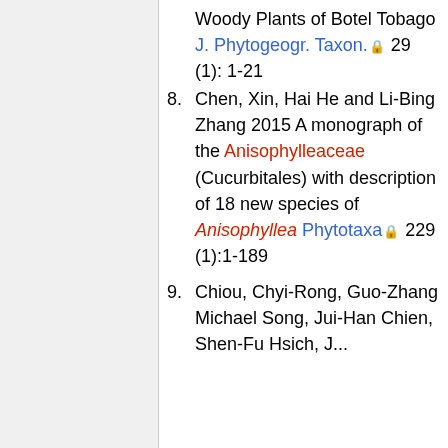Woody Plants of Botel Tobago J. Phytogeogr. Taxon. 29 (1): 1-21
8. Chen, Xin, Hai He and Li-Bing Zhang 2015 A monograph of the Anisophylleaceae (Cucurbitales) with description of 18 new species of Anisophyllea Phytotaxa 229 (1):1-189
9. Chiou, Chyi-Rong, Guo-Zhang Michael Song, Jui-Han Chien, Shen-Fu Hsich, ...